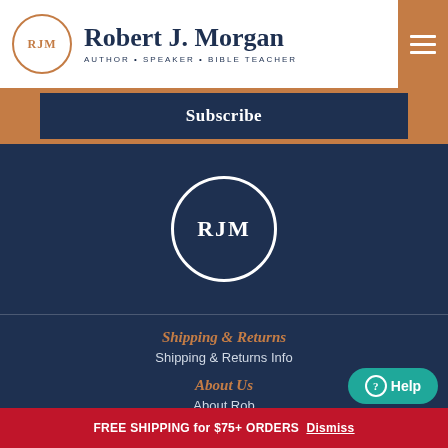Robert J. Morgan · Author · Speaker · Bible Teacher
Subscribe
[Figure (logo): RJM circular logo in white on dark navy background]
Shipping & Returns
Shipping & Returns Info
About Us
About Rob
Books
Podcast
FREE SHIPPING for $75+ ORDERS  Dismiss